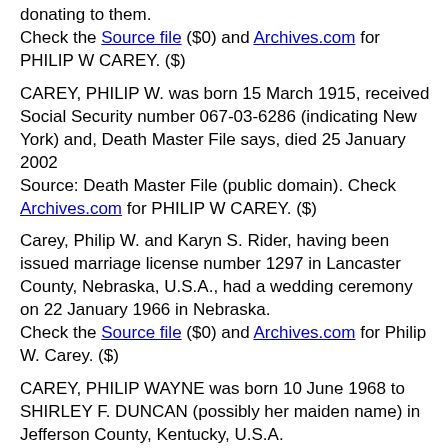donating to them.
Check the Source file ($0) and Archives.com for PHILIP W CAREY. ($)
CAREY, PHILIP W. was born 15 March 1915, received Social Security number 067-03-6286 (indicating New York) and, Death Master File says, died 25 January 2002
Source: Death Master File (public domain). Check Archives.com for PHILIP W CAREY. ($)
Carey, Philip W. and Karyn S. Rider, having been issued marriage license number 1297 in Lancaster County, Nebraska, U.S.A., had a wedding ceremony on 22 January 1966 in Nebraska.
Check the Source file ($0) and Archives.com for Philip W. Carey. ($)
CAREY, PHILIP WAYNE was born 10 June 1968 to SHIRLEY F. DUNCAN (possibly her maiden name) in Jefferson County, Kentucky, U.S.A.